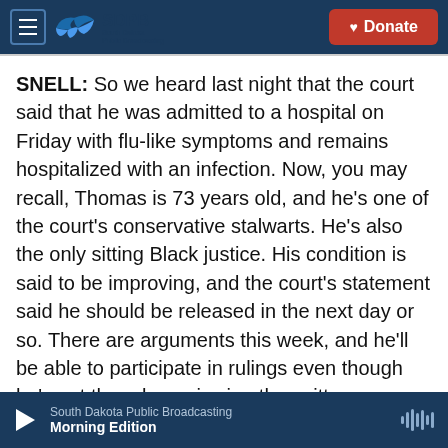SDPB South Dakota Public Broadcasting | Donate
SNELL: So we heard last night that the court said that he was admitted to a hospital on Friday with flu-like symptoms and remains hospitalized with an infection. Now, you may recall, Thomas is 73 years old, and he's one of the court's conservative stalwarts. He's also the only sitting Black justice. His condition is said to be improving, and the court's statement said he should be released in the next day or so. There are arguments this week, and he'll be able to participate in rulings even though he's not there by reviewing the written materials in those cases and with audio recordings of the
South Dakota Public Broadcasting
Morning Edition